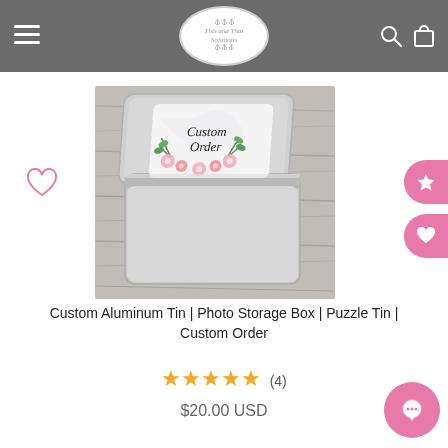This and That Solutions
[Figure (photo): An open aluminum/metal tin box with a custom printed lid reading 'Custom Order' surrounded by pink flowers and green leaves, placed on a rustic wood background.]
Custom Aluminum Tin | Photo Storage Box | Puzzle Tin | Custom Order
★★★★★ (4)
$20.00 USD